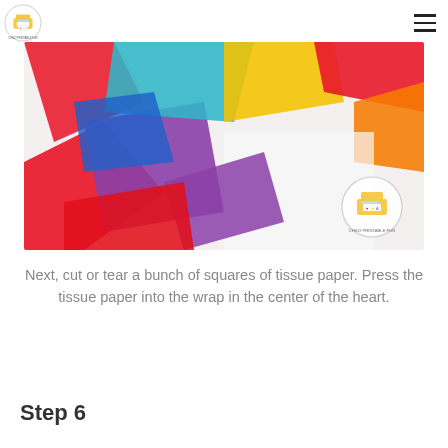[Child Printable Fun logo] [hamburger menu]
[Figure (photo): Colorful squares of tissue paper in red, purple, blue, teal, yellow, and orange arranged on a white surface, with a Child Printable Fun logo watermark in the lower right corner.]
Next, cut or tear a bunch of squares of tissue paper. Press the tissue paper into the wrap in the center of the heart.
Step 6